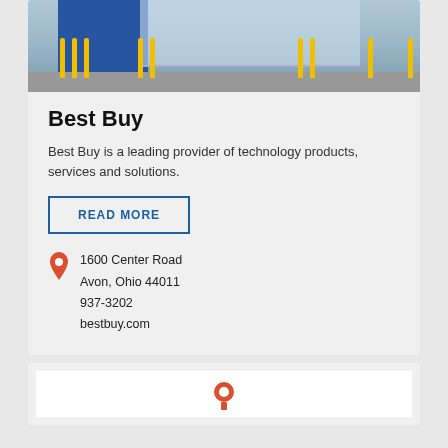[Figure (photo): Exterior photo of a Best Buy store with blue facade, yellow bollards, and glass entrance]
Best Buy
Best Buy is a leading provider of technology products, services and solutions.
READ MORE
1600 Center Road
Avon, Ohio 44011
937-3202
bestbuy.com